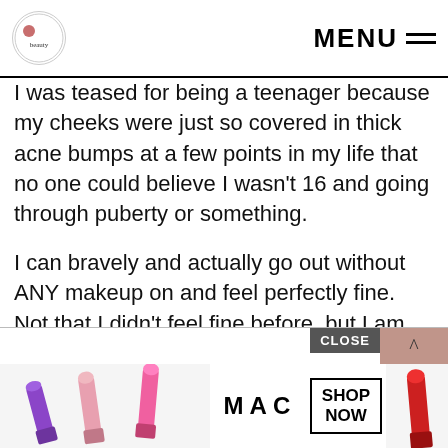MENU
I was teased for being a teenager because my cheeks were just so covered in thick acne bumps at a few points in my life that no one could believe I wasn't 16 and going through puberty or something.
I can bravely and actually go out without ANY makeup on and feel perfectly fine. Not that I didn't feel fine before, but I am less self-conscious about showing my skin because I no longer have pimples.
Now, when I do a very light swipe of foundation (if any, because my powder su... fou... y,
[Figure (screenshot): MAC Cosmetics advertisement banner with lipsticks, MAC logo, SHOP NOW button, CLOSE button, and scroll-up button]